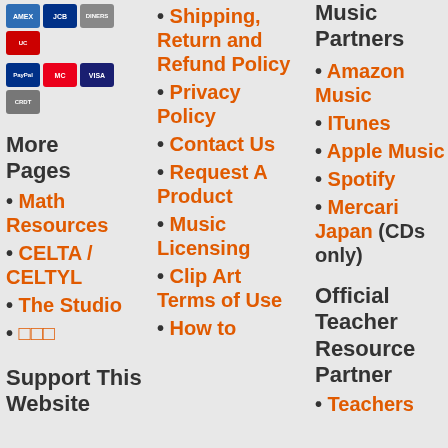[Figure (other): Payment method icons: AMEX, JCB, Diners, UnionPay, PayPal, Mastercard, Visa, AMEX]
More Pages
• Math Resources
• CELTA / CELTYL
• The Studio
• □□□
Support This Website
• Shipping, Return and Refund Policy
• Privacy Policy
• Contact Us
• Request A Product
• Music Licensing
• Clip Art Terms of Use
• How to
Music Partners
• Amazon Music
• ITunes
• Apple Music
• Spotify
• Mercari Japan (CDs only)
Official Teacher Resource Partner
• Teachers